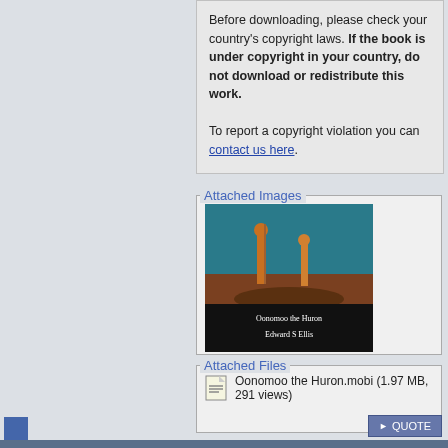Before downloading, please check your country's copyright laws. If the book is under copyright in your country, do not download or redistribute this work.

To report a copyright violation you can contact us here.
Attached Images
[Figure (photo): Book cover for 'Oonomoo the Huron' by Edward S Ellis. Dark background with two figures standing, text of title and author in white at bottom.]
Attached Files
Oonomoo the Huron.mobi (1.97 MB, 291 views)